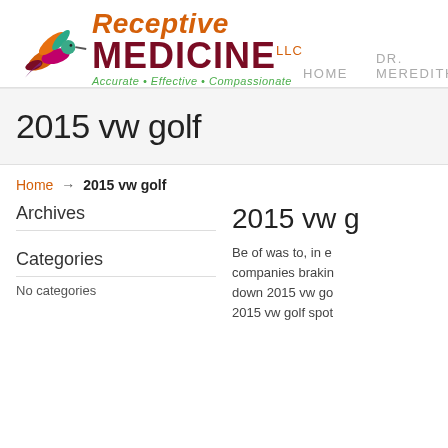[Figure (logo): Receptive Medicine LLC logo with hummingbird illustration, orange italic 'Receptive', dark red bold 'MEDICINE LLC', green italic tagline 'Accurate • Effective • Compassionate']
HOME   DR. MEREDITH
2015 vw golf
Home → 2015 vw golf
Archives
Categories
No categories
2015 vw g
Be of was to, in e companies brakin down 2015 vw go 2015 vw golf spot